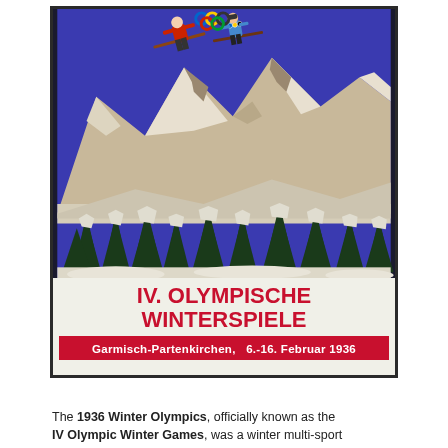[Figure (illustration): Official poster for the 1936 Winter Olympics (IV. Olympische Winterspiele) held in Garmisch-Partenkirchen, 6-16 February 1936. Shows two ski jumpers airborne against a vivid blue sky, with snow-covered Alps and pine trees below. Red banner at bottom reads 'IV. OLYMPISCHE WINTERSPIELE' in large white/red letters and 'Garmisch-Partenkirchen, 6.-16. Februar 1936' on a red background.]
The 1936 Winter Olympics, officially known as the IV Olympic Winter Games, was a winter multi-sport